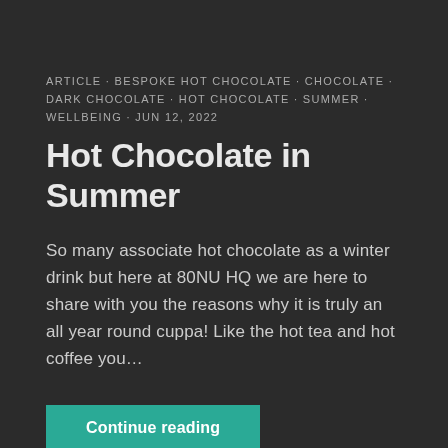ARTICLE · BESPOKE HOT CHOCOLATE · CHOCOLATE · DARK CHOCOLATE · HOT CHOCOLATE · SUMMER · WELLBEING · JUN 12, 2022
Hot Chocolate in Summer
So many associate hot chocolate as a winter drink but here at 80NU HQ we are here to share with you the reasons why it is truly an all year round cuppa! Like the hot tea and hot coffee you…
Continue reading